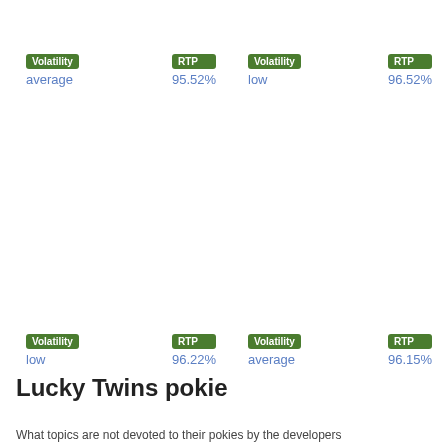Volatility
average
RTP
95.52%
Volatility
low
RTP
96.52%
Volatility
low
RTP
96.22%
Volatility
average
RTP
96.15%
Lucky Twins pokie
What topics are not devoted to their pokies by the developers